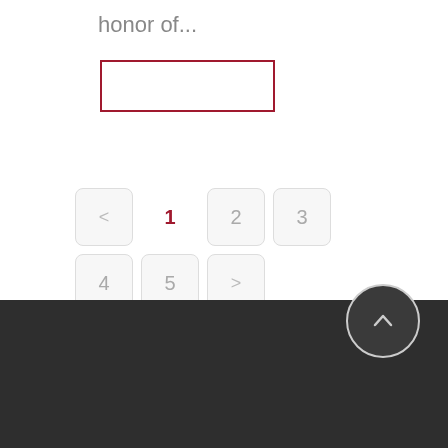honor of...
[Figure (other): A red-bordered empty input box/text field]
[Figure (other): Pagination controls: previous arrow, page 1 (active/red), pages 2, 3, 4, 5, next arrow]
Dark footer bar with scroll-to-top arrow button